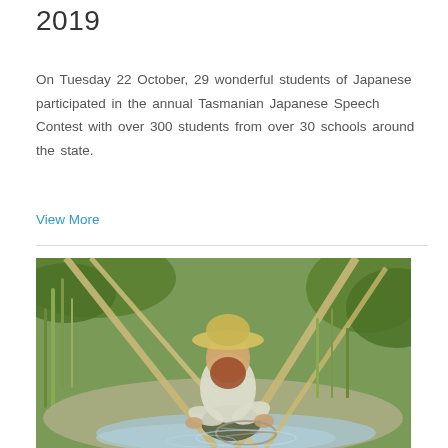2019
On Tuesday 22 October, 29 wonderful students of Japanese participated in the annual Tasmanian Japanese Speech Contest with over 300 students from over 30 schools around the state.
View More
[Figure (photo): A bearded man wearing a wide-brimmed hat and white shirt crouches beside a stream in a marshy area with tall grasses and bamboo poles, handling a net in the water.]